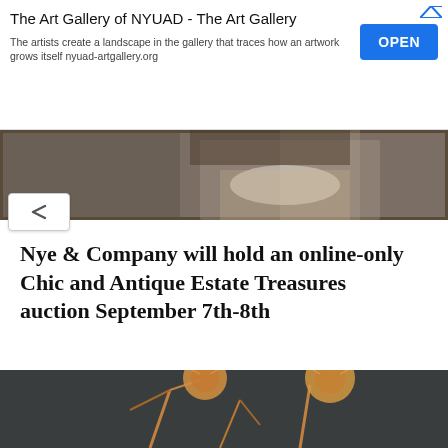[Figure (screenshot): Advertisement banner for The Art Gallery of NYUAD with title, description text, and an OPEN button]
[Figure (photo): Partial portrait painting showing upper portion of a person in historical costume with ornate clothing against a dark framed background]
Nye & Company will hold an online-only Chic and Antique Estate Treasures auction September 7th-8th
[Figure (photo): Close-up photo of dried thistle plants against a dark gray background, showing spiky golden-brown seed heads]